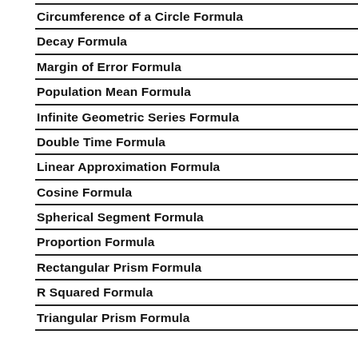Circumference of a Circle Formula
Decay Formula
Margin of Error Formula
Population Mean Formula
Infinite Geometric Series Formula
Double Time Formula
Linear Approximation Formula
Cosine Formula
Spherical Segment Formula
Proportion Formula
Rectangular Prism Formula
R Squared Formula
Triangular Prism Formula